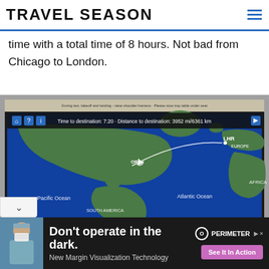TRAVEL SEASON
time with a total time of 8 hours. Not bad from Chicago to London.
[Figure (photo): Airplane seat-back screen showing flight map with route from Chicago (ORD) to London (LHR). Screen displays: Time to destination: 7:20 · Distance to destination: 3952 mi/6361 km. Map shows North America, Atlantic Ocean, South America, Africa, Europe. Pacific Ocean and Atlantic Ocean labels visible. SOUTH AMERICA and AFRICA labels visible. Airplane icon shown mid-route over eastern North America.]
[Figure (other): Advertisement banner: 'Don't operate in the dark. New Margin Visualization Technology' with PERIMETER logo and 'See It In Action' button. Shows masked medical professional on left.]